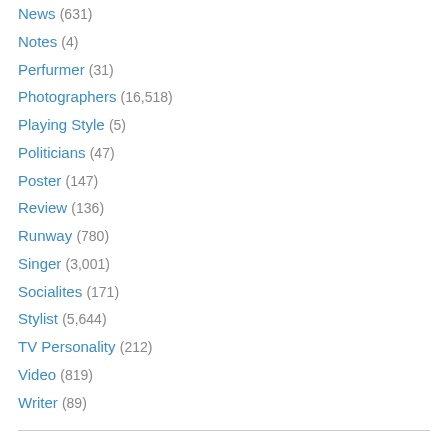News (631)
Notes (4)
Perfurmer (31)
Photographers (16,518)
Playing Style (5)
Politicians (47)
Poster (147)
Review (136)
Runway (780)
Singer (3,001)
Socialites (171)
Stylist (5,644)
TV Personality (212)
Video (819)
Writer (89)
art8amby Archives
May 2022 (8)